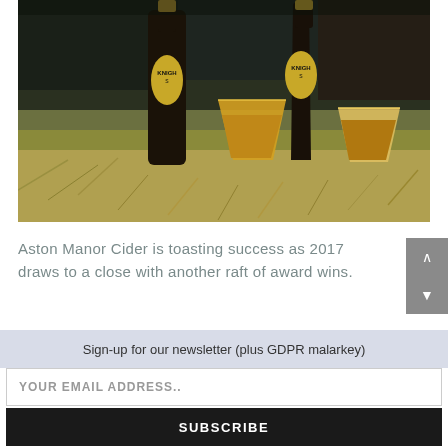[Figure (photo): Two dark glass bottles of Knights cider and two plastic cups filled with amber cider, sitting in dry grass at an outdoor event]
Aston Manor Cider is toasting success as 2017 draws to a close with another raft of award wins.
Sign-up for our newsletter (plus GDPR malarkey)
YOUR EMAIL ADDRESS..
SUBSCRIBE